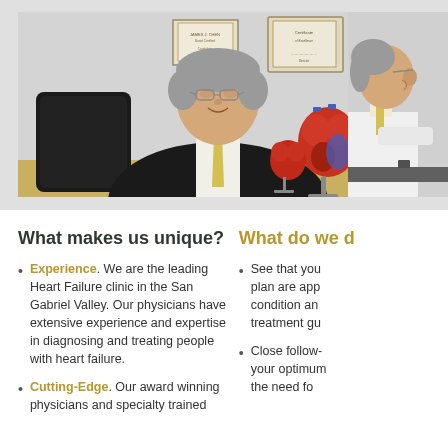[Figure (photo): Photo of Asian male doctor in black suit with yellow tie, sitting at desk with heart anatomical models in background, framed certificates on wall behind.]
[Figure (photo): Partial photo of doctor in white coat, side profile view, examining or consulting a patient.]
What makes us unique?
Experience. We are the leading Heart Failure clinic in the San Gabriel Valley. Our physicians have extensive experience and expertise in diagnosing and treating people with heart failure.
Cutting-Edge. Our award winning physicians and specialty trained...
What do we d...
See that your... plan are app... condition an... treatment gu...
Close follow-... your optimum... the need fo...